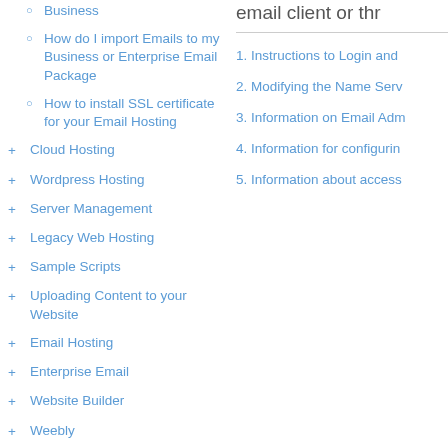Business
How do I import Emails to my Business or Enterprise Email Package
How to install SSL certificate for your Email Hosting
+ Cloud Hosting
+ Wordpress Hosting
+ Server Management
+ Legacy Web Hosting
+ Sample Scripts
+ Uploading Content to your Website
+ Email Hosting
+ Enterprise Email
+ Website Builder
+ Weebly
+ Hosting Caveats
email client or thr
1. Instructions to Login and
2. Modifying the Name Serv
3. Information on Email Adm
4. Information for configurin
5. Information about access